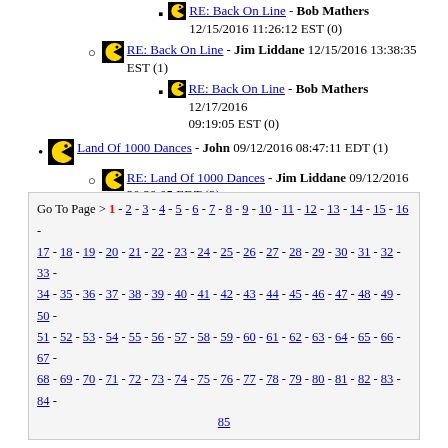RE: Back On Line - Bob Mathers 12/15/2016 11:26:12 EST (0)
RE: Back On Line - Jim Liddane 12/15/2016 13:38:35 EST (1)
RE: Back On Line - Bob Mathers 12/17/2016 09:19:05 EST (0)
Land Of 1000 Dances - John 09/12/2016 08:47:11 EDT (1)
RE: Land Of 1000 Dances - Jim Liddane 09/12/2016 20:29:05 EDT (2)
RE: Land Of 1000 Dances - John 09/13/2016 16:31:14 EDT (0)
RE: Land Of 1000 Dances - Bob Mathers 09/20/2016 21:50:23 EDT (1)
RE: Land Of 1000 Dances - John 10/31/2016 17:06:31 EDT (0)
Go To Page > 1 - 2 - 3 - 4 - 5 - 6 - 7 - 8 - 9 - 10 - 11 - 12 - 13 - 14 - 15 - 16 - 17 - 18 - 19 - 20 - 21 - 22 - 23 - 24 - 25 - 26 - 27 - 28 - 29 - 30 - 31 - 32 - 33 - 34 - 35 - 36 - 37 - 38 - 39 - 40 - 41 - 42 - 43 - 44 - 45 - 46 - 47 - 48 - 49 - 50 - 51 - 52 - 53 - 54 - 55 - 56 - 57 - 58 - 59 - 60 - 61 - 62 - 63 - 64 - 65 - 66 - 67 - 68 - 69 - 70 - 71 - 72 - 73 - 74 - 75 - 76 - 77 - 78 - 79 - 80 - 81 - 82 - 83 - 84 - 85